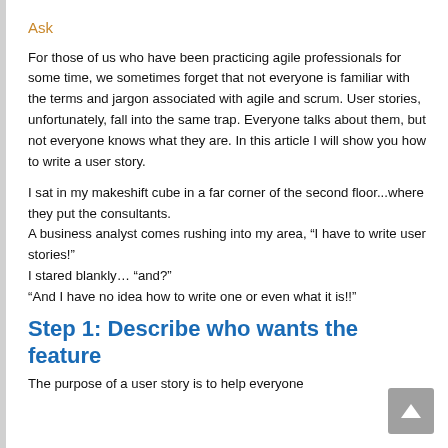Ask
For those of us who have been practicing agile professionals for some time, we sometimes forget that not everyone is familiar with the terms and jargon associated with agile and scrum. User stories, unfortunately, fall into the same trap. Everyone talks about them, but not everyone knows what they are. In this article I will show you how to write a user story.
I sat in my makeshift cube in a far corner of the second floor...where they put the consultants.
A business analyst comes rushing into my area, “I have to write user stories!”
I stared blankly… “and?”
“And I have no idea how to write one or even what it is!!”
Step 1: Describe who wants the feature
The purpose of a user story is to help everyone